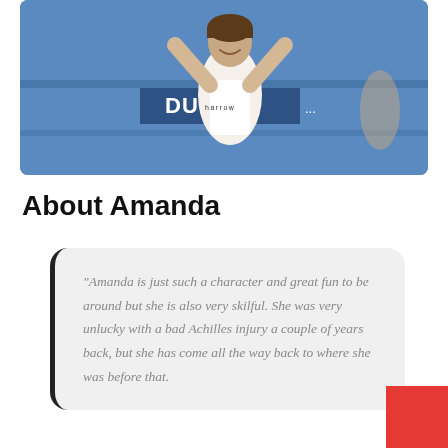[Figure (photo): A female squash player in a white Harrow tank top celebrating with arms raised on a squash court with a Dunlop banner visible in the background.]
About Amanda
“Amanda is just such a character and great fun to be around but she is also very skilful. She was very unlucky with a bad Achilles injury a couple of years back, but she has come all the way back to where she was before that.